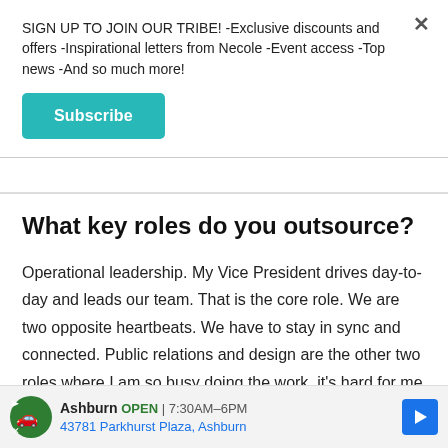SIGN UP TO JOIN OUR TRIBE! -Exclusive discounts and offers -Inspirational letters from Necole -Event access -Top news -And so much more!
Subscribe
What key roles do you outsource?
Operational leadership. My Vice President drives day-to-day and leads our team. That is the core role. We are two opposite heartbeats. We have to stay in sync and connected. Public relations and design are the other two roles where I am so busy doing the work, it's hard for me to tell the story of what's
Ashburn OPEN 7:30AM–6PM 43781 Parkhurst Plaza, Ashburn